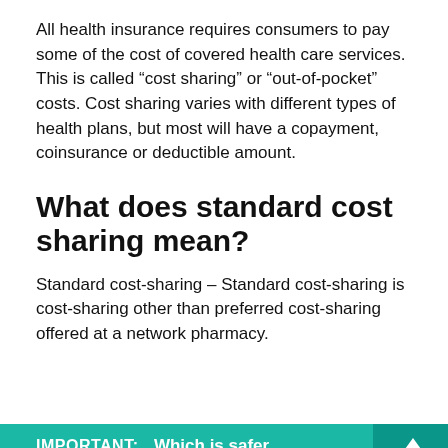All health insurance requires consumers to pay some of the cost of covered health care services. This is called “cost sharing” or “out-of-pocket” costs. Cost sharing varies with different types of health plans, but most will have a copayment, coinsurance or deductible amount.
What does standard cost sharing mean?
Standard cost-sharing – Standard cost-sharing is cost-sharing other than preferred cost-sharing offered at a network pharmacy.
IMPORTANT:  Which is safer